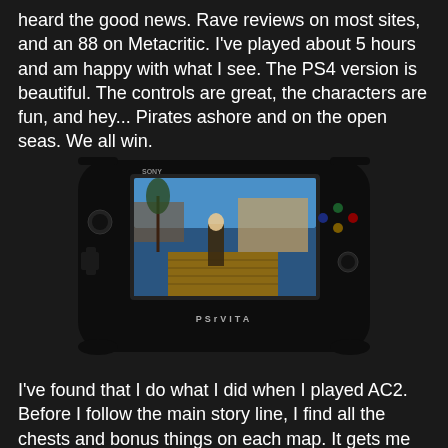heard the good news. Rave reviews on most sites, and an 88 on Metacritic. I've played about 5 hours and am happy with what I see. The PS4 version is beautiful. The controls are great, the characters are fun, and hey... Pirates ashore and on the open seas. We all win.
[Figure (photo): A PS Vita handheld gaming console displaying a game screenshot (appears to be an Assassin's Creed style game with a character on a dock with water and buildings in background). The device is black with SONY branding visible on the left side and PSVita label at the bottom.]
I've found that I do what I did when I played AC2. Before I follow the main story line, I find all the chests and bonus things on each map. It gets me better acquainted with the map so when I do the missions I don't feel all lost. Kind of like I scoped the place out to make a quick escape if I need to. Plus, you open all the fast travel points when you synchronize the viewpoints, which makes getting around